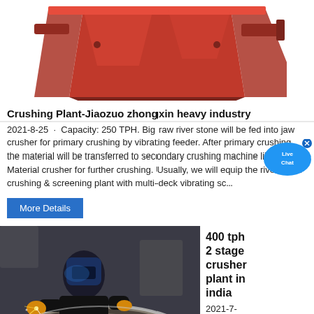[Figure (photo): Red industrial jaw crusher machine against white background]
Crushing Plant-Jiaozuo zhongxin heavy industry
2021-8-25 · Capacity: 250 TPH. Big raw river stone will be fed into jaw crusher for primary crushing by vibrating feeder. After primary crushing, the material will be transferred to secondary crushing machine like Hard Material crusher for further crushing. Usually, we will equip the river stone crushing & screening plant with multi-deck vibrating sc...
More Details
[Figure (photo): Worker welding inside a large industrial bowl/crusher component with sparks flying]
400 tph 2 stage crusher plant in india
2021-7-17 · 400 Tph Lime Stone Crusher